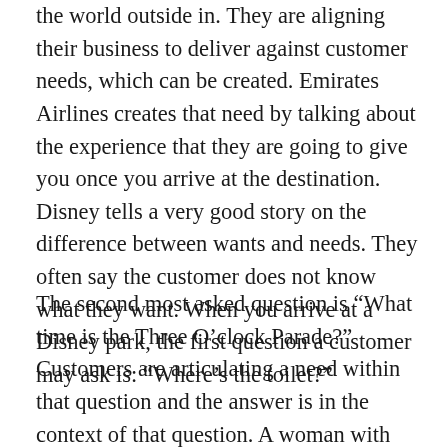the world outside in. They are aligning their business to deliver against customer needs, which can be created. Emirates Airlines creates that need by talking about the experience that they are going to give you once you arrive at the destination. Disney tells a very good story on the difference between wants and needs. They often say the customer does not know what they want. When you arrive at a Disney park, the first question a customer may ask is: “Where’s the toilet?”
The second most asked question is “What time is the Three O’clock Parade?” Customers are articulating a need within that question and the answer is in the context of that question. A woman with two small kids is not asking what